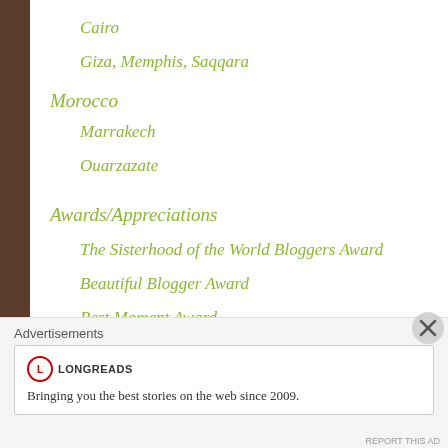Cairo
Giza, Memphis, Saqqara
Morocco
Marrakech
Ouarzazate
Awards/Appreciations
The Sisterhood of the World Bloggers Award
Beautiful Blogger Award
Best Moment Award
Advertisements
Bringing you the best stories on the web since 2009.